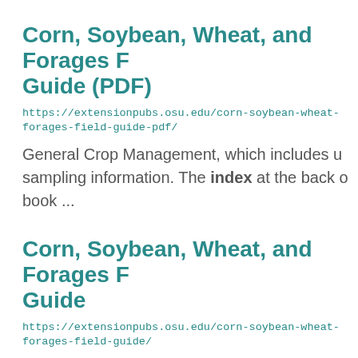Corn, Soybean, Wheat, and Forages Field Guide (PDF)
https://extensionpubs.osu.edu/corn-soybean-wheat-forages-field-guide-pdf/
General Crop Management, which includes u sampling information. The index at the back of book ...
Corn, Soybean, Wheat, and Forages Field Guide
https://extensionpubs.osu.edu/corn-soybean-wheat-forages-field-guide/
General Crop Management, which includes u sampling information. The index at the back